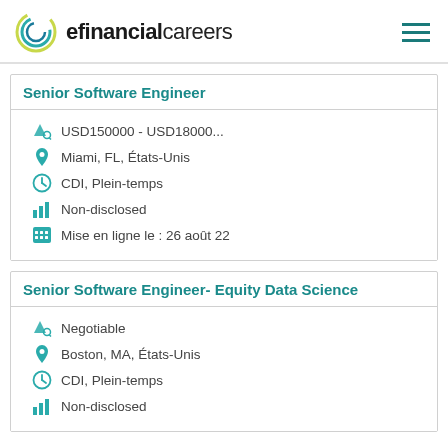efinancialcareers
Senior Software Engineer
USD150000 - USD18000...
Miami, FL, États-Unis
CDI, Plein-temps
Non-disclosed
Mise en ligne le :  26 août 22
Senior Software Engineer- Equity Data Science
Negotiable
Boston, MA, États-Unis
CDI, Plein-temps
Non-disclosed